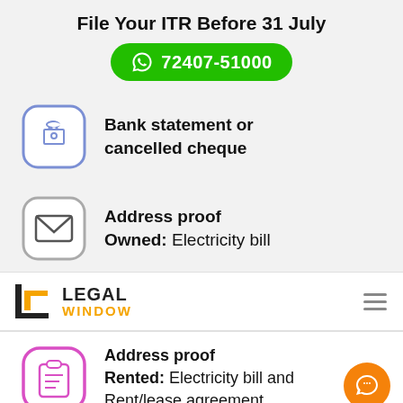File Your ITR Before 31 July
72407-51000
[Figure (infographic): Shopping bag icon in blue rounded square box with text: Bank statement or cancelled cheque]
Bank statement or cancelled cheque
[Figure (infographic): Envelope/mail icon in gray rounded square with text: Address proof - Owned: Electricity bill]
Address proof
Owned: Electricity bill
[Figure (logo): Legal Window logo with orange/black icon and text LEGAL WINDOW]
[Figure (infographic): Clipboard icon in pink/magenta rounded square with text: Address proof - Rented: Electricity bill and Rent/lease agreement]
Address proof
Rented: Electricity bill and Rent/lease agreement